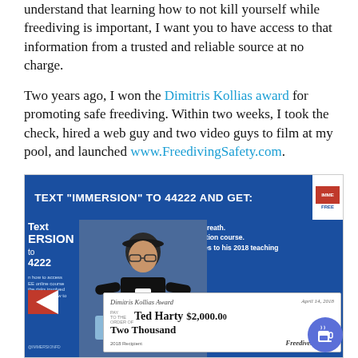understand that learning how to not kill yourself while freediving is important, I want you to have access to that information from a trusted and reliable source at no charge.
Two years ago, I won the Dimitris Kollias award for promoting safe freediving. Within two weeks, I took the check, hired a web guy and two video guys to film at my pool, and launched www.FreedivingSafety.com.
[Figure (photo): Photo of a man holding a large ceremonial check for the Dimitris Kollias Award dated April 14, 2018, made out to Ted Harty for $2,000.00 Two Thousand Dollars, 2018 Recipient, signed Freediver Spear. Background shows a blue banner reading TEXT 'IMMERSION' TO 44222 AND GET: with bullet points about a free video, Immersion Freediving online Frenzel equalization course, and notifications. An Immersion Freediving logo appears on the right. A blue coffee cup icon appears in the lower right corner.]